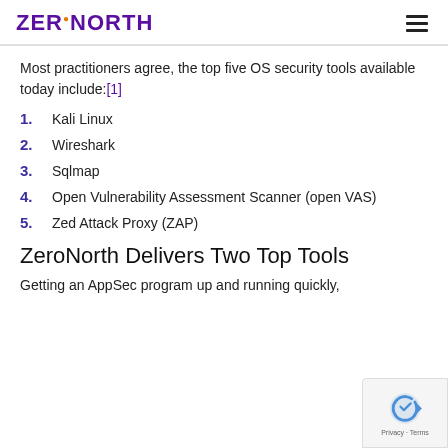ZERONORTH
Most practitioners agree, the top five OS security tools available today include:[1]
1. Kali Linux
2. Wireshark
3. Sqlmap
4. Open Vulnerability Assessment Scanner (open VAS)
5. Zed Attack Proxy (ZAP)
ZeroNorth Delivers Two Top Tools
Getting an AppSec program up and running quickly,